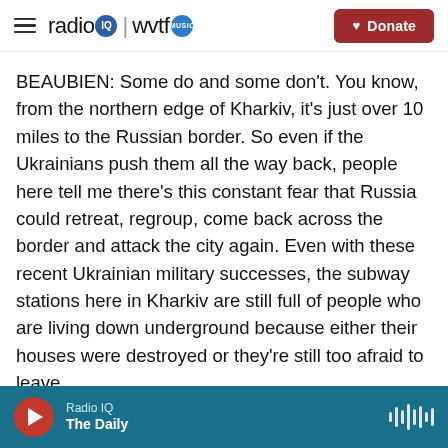radio IQ | wvtf MUSIC  [Donate]
BEAUBIEN: Some do and some don't. You know, from the northern edge of Kharkiv, it's just over 10 miles to the Russian border. So even if the Ukrainians push them all the way back, people here tell me there's this constant fear that Russia could retreat, regroup, come back across the border and attack the city again. Even with these recent Ukrainian military successes, the subway stations here in Kharkiv are still full of people who are living down underground because either their houses were destroyed or they're still too afraid to leave.
CHANG: Well, I understand that you were able to go
Radio IQ · The Daily